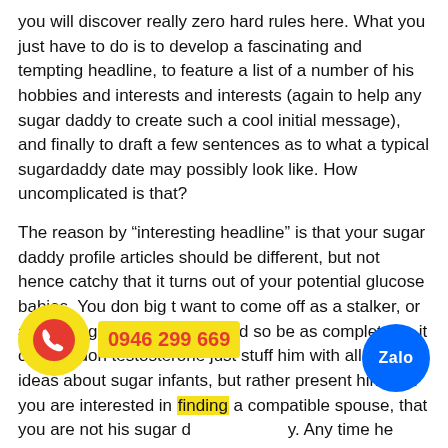you will discover really zero hard rules here. What you just have to do is to develop a fascinating and tempting headline, to feature a list of a number of his hobbies and interests and interests (again to help any sugar daddy to create such a cool initial message), and finally to draft a few sentences as to what a typical sugardaddy date may possibly look like. How uncomplicated is that?
The reason by "interesting headline" is that your sugar daddy profile articles should be different, but not hence catchy that it turns out of your potential glucose babies. You don big t want to come off as a stalker, or a troubling wife-in-waiting. And so be as complete as it can be, don testosterone just stuff him with all your ideas about sugar infants, but rather present him that you are interested in finding a compatible spouse, that you are not his sugar d[…]y. Any time he seems that you really happen to be this great dude, then he can o[…] to more conversations with you, that will lead to a sweeter